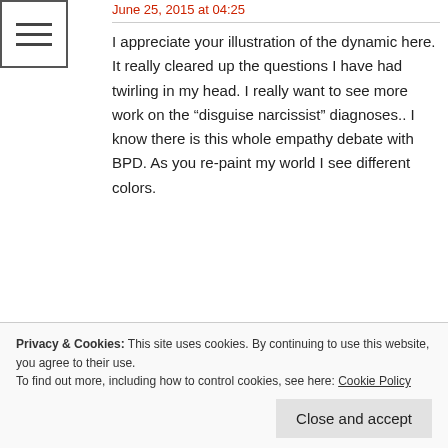June 25, 2015 at 04:25
I appreciate your illustration of the dynamic here. It really cleared up the questions I have had twirling in my head. I really want to see more work on the “disguise narcissist” diagnoses.. I know there is this whole empathy debate with BPD. As you re-paint my world I see different colors.
Like · Loading...
Privacy & Cookies: This site uses cookies. By continuing to use this website, you agree to their use.
To find out more, including how to control cookies, see here: Cookie Policy
Close and accept